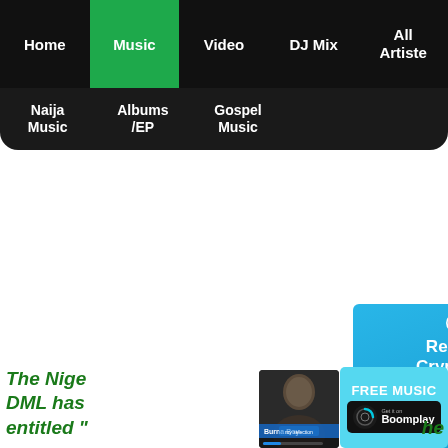Home | Music | Video | DJ Mix | All Artiste
Naija Music | Albums /EP | Gospel Music
[Figure (infographic): Zabira crypto advertisement banner: Receive & Sell Crypto on Zabira, Up to ₦10,000 Sign Up Bonus, with crypto coin icons (Ethereum, Bitcoin, Tether) and App Store / Google Play badges]
[Figure (infographic): Boomplay FREE MUSIC Get it on Boomplay banner with Burna Boy thumbnail]
The Nige… DML has… he entitled "…